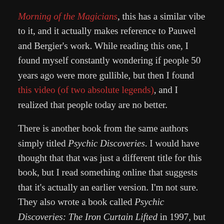Morning of the Magicians, this has a similar vibe to it, and it actually makes reference to Pauwel and Bergier's work. While reading this one, I found myself constantly wondering if people 50 years ago were more gullible, but then I found this video (of two absolute legends), and I realized that people today are no better.
There is another book from the same authors simply titled Psychic Discoveries. I would have thought that that was just a different title for this book, but I read something online that suggests that it's actually an earlier version. I'm not sure. They also wrote a book called Psychic Discoveries: The Iron Curtain Lifted in 1997, but hopefully I'll never find a copy of that one.
Here's a video of the actual authors being interviewed.